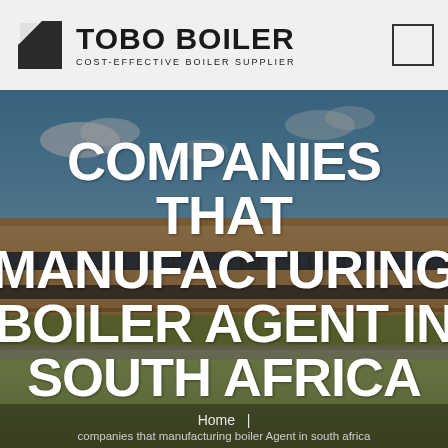TOBO BOILER | COST-EFFECTIVE BOILER SUPPLIER
[Figure (photo): Aerial/ground view of a large industrial manufacturing facility building with blue sky background, used as hero image background for the Tobo Boiler website page]
COMPANIES THAT MANUFACTURING BOILER AGENT IN SOUTH AFRICA
Home  |  companies that manufacturing boiler Agent in south africa